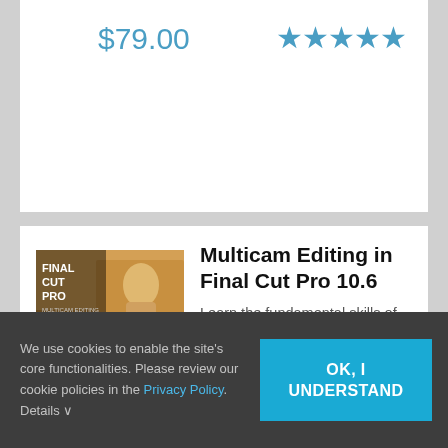$79.00
[Figure (illustration): Five blue star rating icons]
[Figure (photo): Final Cut Pro Multicam Editing course thumbnail showing a woman looking upward with text FINAL CUT PRO MULTICAM EDITING]
Multicam Editing in Final Cut Pro 10.6
Learn the fundamental skills of syncing, audio mixing, editing & color correcting multicam projects in Final
We use cookies to enable the site's core functionalities. Please review our cookie policies in the Privacy Policy. Details ∨
OK, I UNDERSTAND